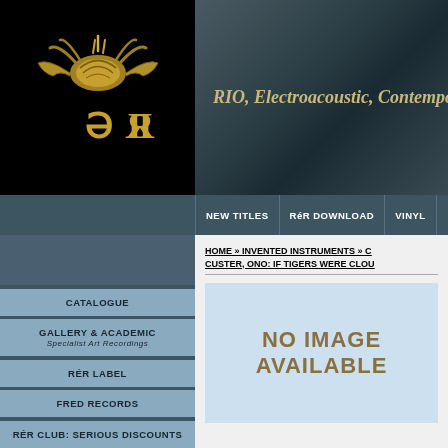[Figure (logo): RéR Megacorp logo with golden metallic crab/insect shape above stylized RER text in gold on black background]
RIO, Electroacoustic, Contempora
NEW TITLES | RéR DOWNLOAD | VINYL
HOME » INVENTED INSTRUMENTS » CUSTER, ONO: IF TIGERS WERE CLOU
CATALOGUE
GALLERY & ACADEMIC
Specialist Art Recordings
RéR LABEL
FRED RECORDS
RéR CLUB: Serious Discounts
[Figure (other): No Image Available placeholder in light blue box]